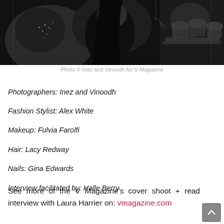[Figure (photo): Black and white fashion photo showing figures in dark, dramatic lighting. Left figure in dark outfit with sparkle/rhinestone details, center figure with long dark hair, right side shows decorative cupcakes or similar ornate objects.]
Photo © Inez and Vinoodh for V Magazine
Photographers: Inez and Vinoodh
Fashion Stylist: Alex White
Makeup: Fulvia Farolfi
Hair: Lacy Redway
Nails: Gina Edwards
Interview facilitated by: Halle Berry
See more of the V Magazine's cover shoot + read interview with Laura Harrier on: vmagazine.com